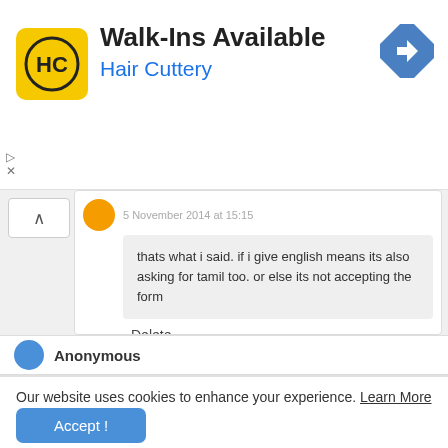[Figure (screenshot): Hair Cuttery ad banner with logo, Walk-Ins Available text, and navigation icon]
5 November 2014 at 15:15
thats what i said. if i give english means its also asking for tamil too. or else its not accepting the form
Delete
Anonymous
Our website uses cookies to enhance your experience. Learn More
Accept !